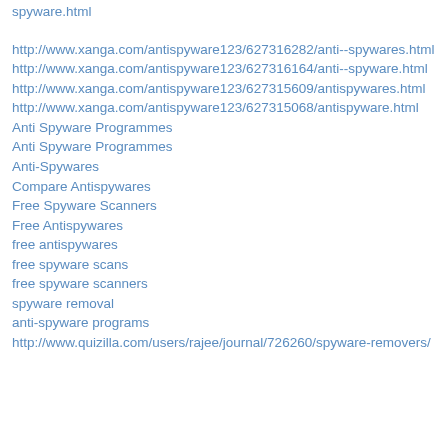spyware.html
http://www.xanga.com/antispyware123/627316282/anti--spywares.html
http://www.xanga.com/antispyware123/627316164/anti--spyware.html
http://www.xanga.com/antispyware123/627315609/antispywares.html
http://www.xanga.com/antispyware123/627315068/antispyware.html
Anti Spyware Programmes
Anti Spyware Programmes
Anti-Spywares
Compare Antispywares
Free Spyware Scanners
Free Antispywares
free antispywares
free spyware scans
free spyware scanners
spyware removal
anti-spyware programs
http://www.quizilla.com/users/rajee/journal/726260/spyware-removers/